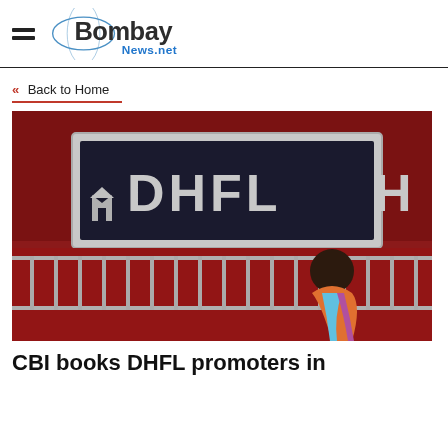Bombay News.net
« Back to Home
[Figure (photo): DHFL signboard with a person walking in front. Red background with large DHFL lettering in dark navy/black on a light rectangle. A woman in colorful clothing is visible in the foreground.]
CBI books DHFL promoters in